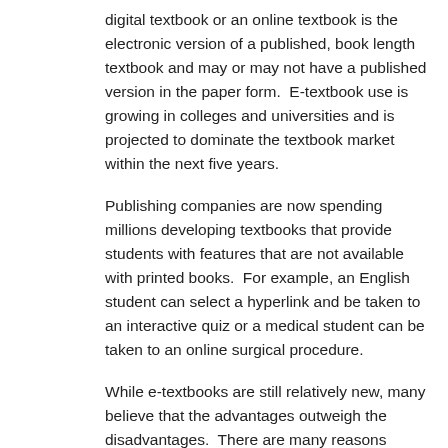digital textbook or an online textbook is the electronic version of a published, book length textbook and may or may not have a published version in the paper form.  E-textbook use is growing in colleges and universities and is projected to dominate the textbook market within the next five years.
Publishing companies are now spending millions developing textbooks that provide students with features that are not available with printed books.  For example, an English student can select a hyperlink and be taken to an interactive quiz or a medical student can be taken to an online surgical procedure.
While e-textbooks are still relatively new, many believe that the advantages outweigh the disadvantages.  There are many reasons students are choosing to go digital and here are a few: